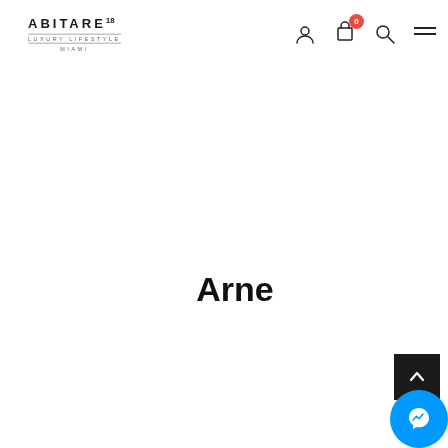ABITARE18 LUXURY LIFESTYLE MIAMI
Arne
[Figure (screenshot): Back to top button (dark square with upward chevron) and Facebook Messenger floating button (blue circle with lightning bolt icon) in bottom right corner]